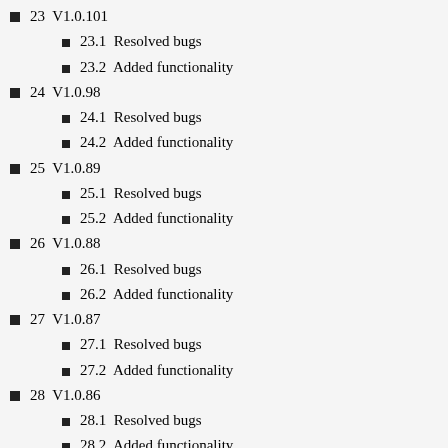23  V1.0.101
23.1  Resolved bugs
23.2  Added functionality
24  V1.0.98
24.1  Resolved bugs
24.2  Added functionality
25  V1.0.89
25.1  Resolved bugs
25.2  Added functionality
26  V1.0.88
26.1  Resolved bugs
26.2  Added functionality
27  V1.0.87
27.1  Resolved bugs
27.2  Added functionality
28  V1.0.86
28.1  Resolved bugs
28.2  Added functionality
29  V1.0.85
29.1  Resolved bugs
29.2  Added functionality
30  V1.0.84
30.1  Resolved bugs
30.2  Added functionality
31  V1.0.83